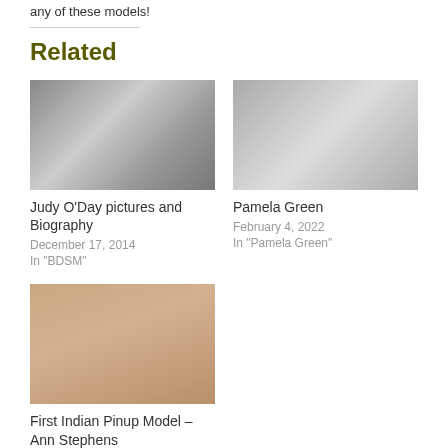any of these models!
Related
[Figure (photo): Black and white photo related to Judy O'Day BDSM content]
Judy O'Day pictures and Biography
December 17, 2014
In "BDSM"
[Figure (photo): Black and white photo of Pamela Green posing]
Pamela Green
February 4, 2022
In "Pamela Green"
[Figure (photo): Photo of First Indian Pinup Model Ann Stephens]
First Indian Pinup Model – Ann Stephens